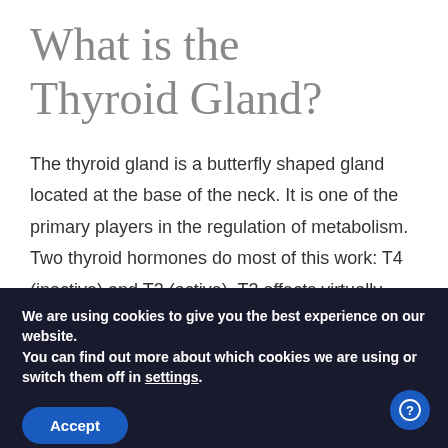What is the Thyroid Gland?
The thyroid gland is a butterfly shaped gland located at the base of the neck. It is one of the primary players in the regulation of metabolism. Two thyroid hormones do most of this work: T4 (inactive) and T3 (active). T3 affects virtually every organ of the body by
We are using cookies to give you the best experience on our website.
You can find out more about which cookies we are using or switch them off in settings.